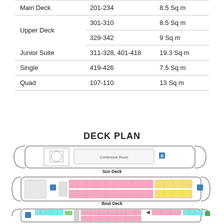| Deck Type | Cabin Numbers | Size |
| --- | --- | --- |
| Main Deck | 201-234 | 8.5 Sq m |
| Upper Deck | 301-310 | 8.5 Sq m |
|  | 329-342 | 9 Sq m |
| Junior Suite | 311-328, 401-418 | 19.3 Sq m |
| Single | 419-426 | 7.5 Sq m |
| Quad | 107-110 | 13 Sq m |
DECK PLAN
[Figure (schematic): Cruise ship deck plan showing Sun Deck with Conference Room, Boat Deck with cabin layout, and partial view of another deck below. Color-coded cabin blocks in pink, blue, yellow, and green.]